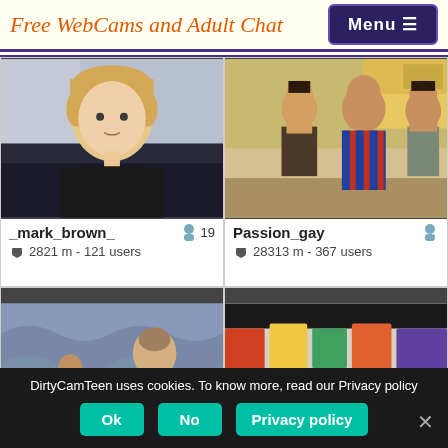Free WebCams and Adult Chat
[Figure (screenshot): Webcam thumbnail of a young blond male in black shirt sitting in a room]
_mark_brown_  19  📷 2821 m - 121 users
[Figure (screenshot): Webcam thumbnail of two young males, one wearing a Barcelona football jersey, in a kitchen]
Passion_gay  📷 28313 m - 367 users
[Figure (screenshot): Webcam thumbnail of two young males in underwear in a room]
[Figure (screenshot): Webcam thumbnail of multiple young males in a room with posters]
DirtyCamTeen uses cookies. To know more, read our Privacy policy
Ok  No  Privacy policy